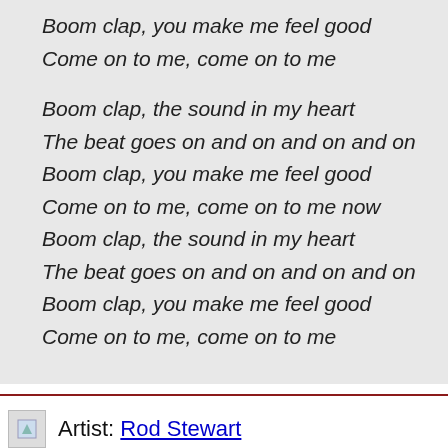Boom clap, you make me feel good
Come on to me, come on to me

Boom clap, the sound in my heart
The beat goes on and on and on and on
Boom clap, you make me feel good
Come on to me, come on to me now
Boom clap, the sound in my heart
The beat goes on and on and on and on
Boom clap, you make me feel good
Come on to me, come on to me
Artist: Rod Stewart
Title: Forever Young
© 2017-2018 TRQL Radio — All rights reserved.
Key:
A646F94554FF94946F54...479...46F9F450...